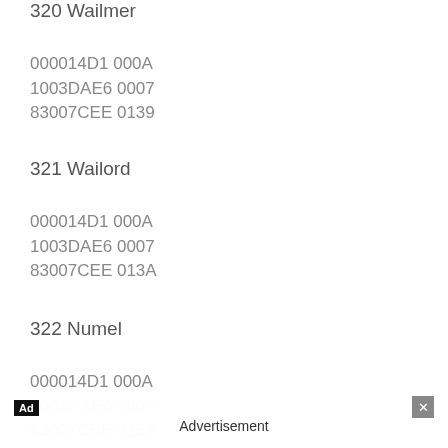320 Wailmer
000014D1 000A
1003DAE6 0007
83007CEE 0139
321 Wailord
000014D1 000A
1003DAE6 0007
83007CEE 013A
322 Numel
000014D1 000A
1003DAE6 0007
83007CEE 0153